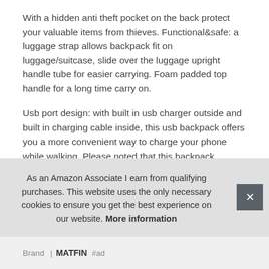With a hidden anti theft pocket on the back protect your valuable items from thieves. Functional&safe: a luggage strap allows backpack fit on luggage/suitcase, slide over the luggage upright handle tube for easier carrying. Foam padded top handle for a long time carry on.
Usb port design: with built in usb charger outside and built in charging cable inside, this usb backpack offers you a more convenient way to charge your phone while walking. Please noted that this backpack doesn't power itself, usb charging port only offers an easy access to charge. Breathable and adjustable shoulder straps relieve the stress of shoulder. Lots of s[...] hol[...] fob[...]
As an Amazon Associate I earn from qualifying purchases. This website uses the only necessary cookies to ensure you get the best experience on our website. More information
Brand: MATFIN #ad